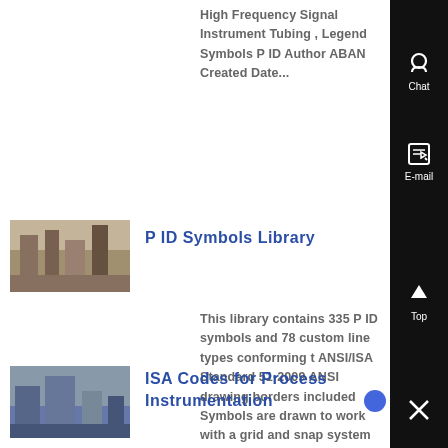High Frequency Signal Instrument Tubing , Legend Symbols P ID Author ABAN Created Date...
[Figure (photo): Industrial facility/plant equipment photo thumbnail for P ID Symbols Library]
P ID Symbols Library
This library contains 335 P ID symbols and 78 custom line types conforming t ANSI/ISA Standard 51-2009 ANSI drawing borders included Symbols are drawn to work with a grid and snap system Most ....
[Figure (photo): Industrial process equipment photo thumbnail for ISA Codes for Process Instrumentation]
ISA Codes for Process Instrumentation